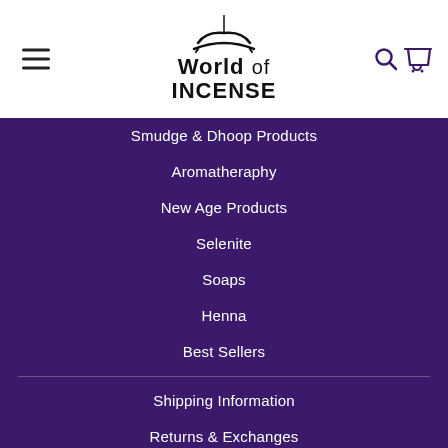[Figure (logo): World of Incense logo with stylized incense burner icon above text]
Smudge & Dhoop Products
Aromatheraphy
New Age Products
Selenite
Soaps
Henna
Best Sellers
Shipping Information
Returns & Exchanges